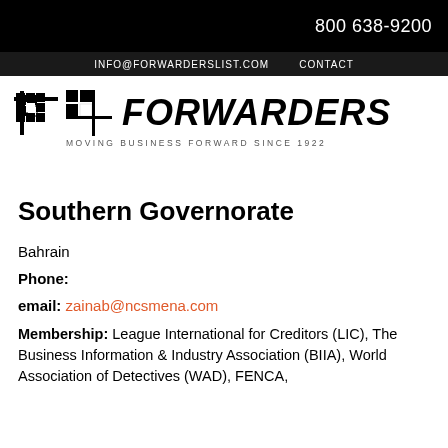800 638-9200
INFO@FORWARDERSLIST.COM   CONTACT
[Figure (logo): Forwarders logo with checkered flag icon and tagline 'MOVING BUSINESS FORWARD SINCE 1922']
Southern Governorate
Bahrain
Phone:
email: zainab@ncsmena.com
Membership: League International for Creditors (LIC), The Business Information & Industry Association (BIIA), World Association of Detectives (WAD), FENCA,